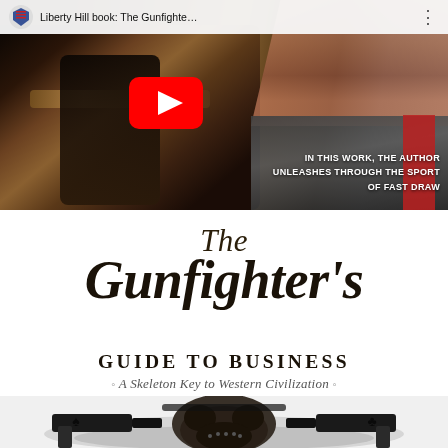[Figure (screenshot): YouTube video thumbnail showing 'Liberty Hill book: The Gunfighte...' with a holster/gun close-up photo and text overlay reading 'IN THIS WORK, THE AUTHOR UNLEASHES THROUGH THE SPORT OF FAST DRAW'. YouTube play button visible in center. Top bar shows channel icon and title.]
[Figure (photo): Book cover text and illustration for 'The Gunfighter's Guide to Business: A Skeleton Key to Western Civilization' showing stylized dog or bull with pistol imagery at the bottom.]